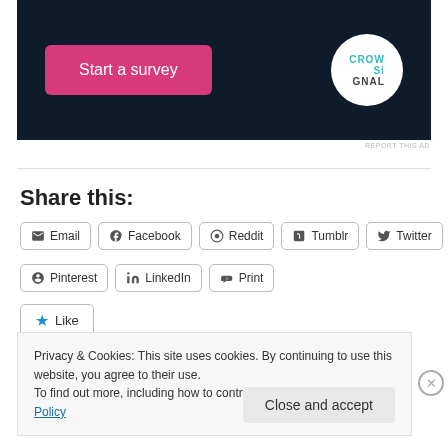[Figure (screenshot): Dark navy advertisement banner with a pink 'Start a survey' button on the left and a circular CrowdSignal logo on the right]
REPORT THIS AD
Share this:
Email
Facebook
Reddit
Tumblr
Twitter
Pinterest
LinkedIn
Print
Like
Privacy & Cookies: This site uses cookies. By continuing to use this website, you agree to their use.
To find out more, including how to control cookies, see here: Cookie Policy